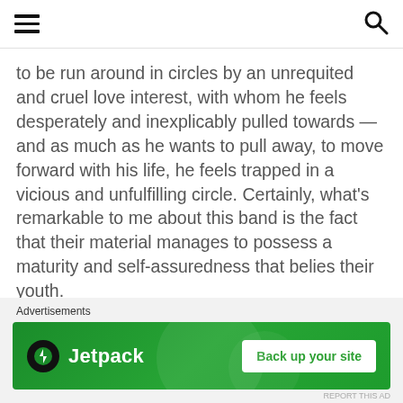[hamburger menu icon] [search icon]
to be run around in circles by an unrequited and cruel love interest, with whom he feels desperately and inexplicably pulled towards — and as much as he wants to pull away, to move forward with his life, he feels trapped in a vicious and unfulfilling circle. Certainly, what's remarkable to me about this band is the fact that their material manages to possess a maturity and self-assuredness that belies their youth.
[Figure (screenshot): Jetpack advertisement banner with green background, Jetpack logo on the left and 'Back up your site' white button on the right. Above the banner is an 'Advertisements' label.]